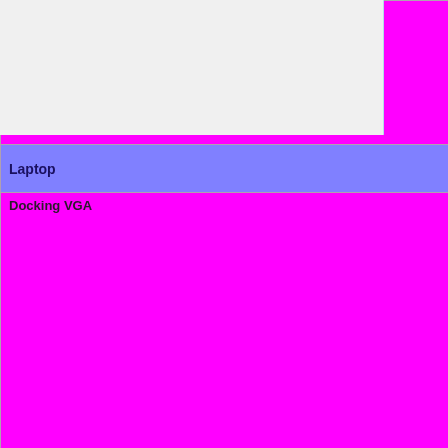| Feature | Status |
| --- | --- |
|  | Untested=yellow | N/A=lightgray yellow }}" | N/A |
| Laptop |  |
| Docking VGA | OK=lime | TODO=red | No=red | WIP=orange Untested=yellow | N/A=lightgray yellow }}" | N/A |
| Docking LAN | OK=lime | TODO=red | No=red | WIP=orange Untested=yellow | N/A=lightgray yellow }}" | N/A |
| Docking USB | OK=lime | TODO=red | No=red | WIP=orange Untested=yellow |